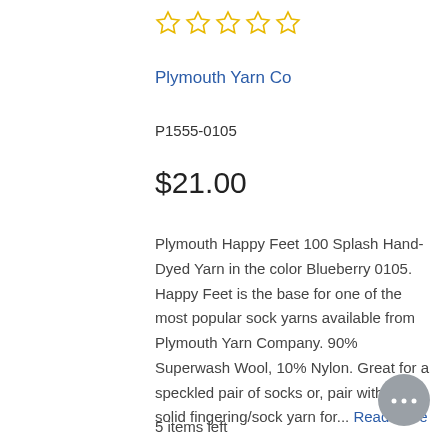[Figure (other): Five empty star rating icons in yellow/gold outline]
Plymouth Yarn Co
P1555-0105
$21.00
Plymouth Happy Feet 100 Splash Hand-Dyed Yarn in the color Blueberry 0105. Happy Feet is the base for one of the most popular sock yarns available from Plymouth Yarn Company. 90% Superwash Wool, 10% Nylon. Great for a speckled pair of socks or, pair with a solid fingering/sock yarn for... Read More
5 items left
[Figure (other): Gray circular chat bubble button with ellipsis (···) icon]